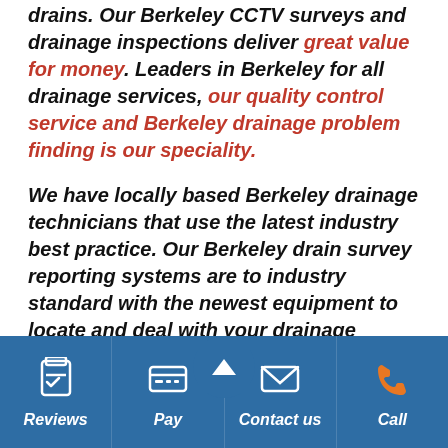drains. Our Berkeley CCTV surveys and drainage inspections deliver great value for money. Leaders in Berkeley for all drainage services, our quality control service and Berkeley drainage problem finding is our speciality.
We have locally based Berkeley drainage technicians that use the latest industry best practice. Our Berkeley drain survey reporting systems are to industry standard with the newest equipment to locate and deal with your drainage issues identified and coded. Instant on-screen feedback that you
[Figure (other): Dark blue navigation bar with four items: Reviews (clipboard icon), Pay (credit card icon), Contact us (envelope icon), Call (phone icon in orange)]